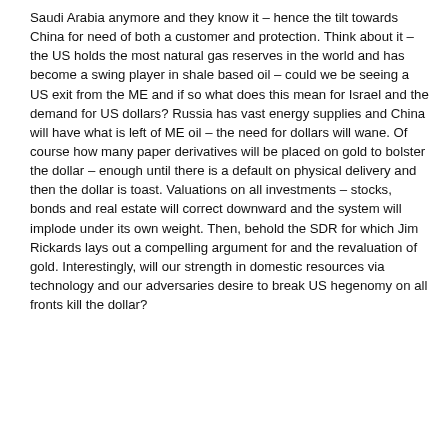Saudi Arabia anymore and they know it – hence the tilt towards China for need of both a customer and protection. Think about it – the US holds the most natural gas reserves in the world and has become a swing player in shale based oil – could we be seeing a US exit from the ME and if so what does this mean for Israel and the demand for US dollars? Russia has vast energy supplies and China will have what is left of ME oil – the need for dollars will wane. Of course how many paper derivatives will be placed on gold to bolster the dollar – enough until there is a default on physical delivery and then the dollar is toast. Valuations on all investments – stocks, bonds and real estate will correct downward and the system will implode under its own weight. Then, behold the SDR for which Jim Rickards lays out a compelling argument for and the revaluation of gold. Interestingly, will our strength in domestic resources via technology and our adversaries desire to break US hegenomy on all fronts kill the dollar?